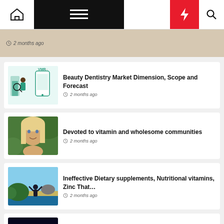Navigation bar with home, menu, dark mode, flash, and search icons
2 months ago
Beauty Dentistry Market Dimension, Scope and Forecast
2 months ago
Devoted to vitamin and wholesome communities
2 months ago
Ineffective Dietary supplements, Nutritional vitamins, Zinc That…
2 months ago
COVID-19 replace for June 21: This is what you'll want to know